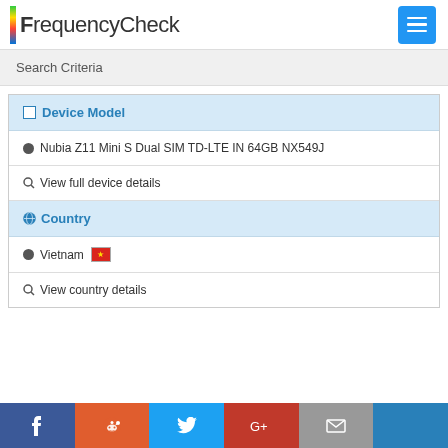FrequencyCheck
Search Criteria
Device Model
Nubia Z11 Mini S Dual SIM TD-LTE IN 64GB NX549J
View full device details
Country
Vietnam
View country details
Social share buttons: Facebook, Reddit, Twitter, Google+, Mail